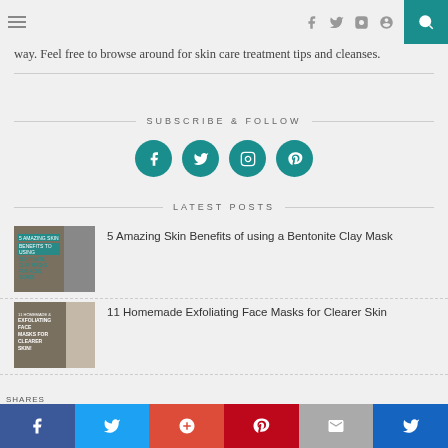Navigation header with hamburger menu, social icons (facebook, twitter, instagram, pinterest), and search button
way. Feel free to browse around for skin care treatment tips and cleanses.
SUBSCRIBE & FOLLOW
[Figure (infographic): Four teal circular social media icons: Facebook, Twitter, Instagram, Pinterest]
LATEST POSTS
[Figure (photo): Thumbnail image for article about Bentonite Clay Mask benefits for skin]
5 Amazing Skin Benefits of using a Bentonite Clay Mask
[Figure (photo): Thumbnail image for article about Homemade Exfoliating Face Masks]
11 Homemade Exfoliating Face Masks for Clearer Skin
Shares — Share buttons: Facebook, Twitter, Google+, Pinterest, Email, More